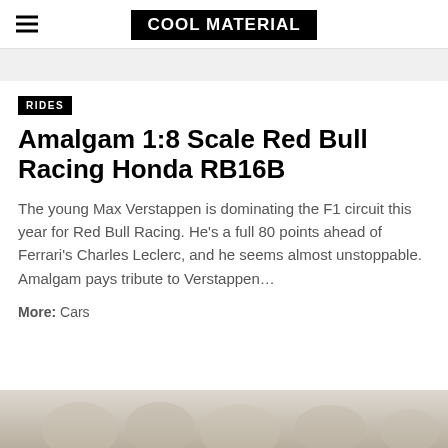COOL MATERIAL
RIDES
Amalgam 1:8 Scale Red Bull Racing Honda RB16B
The young Max Verstappen is dominating the F1 circuit this year for Red Bull Racing. He's a full 80 points ahead of Ferrari's Charles Leclerc, and he seems almost unstoppable. Amalgam pays tribute to Verstappen…
More:  Cars
[Figure (photo): Partial bottom image, appears to show people, muted/faded tones, cropped at page bottom]